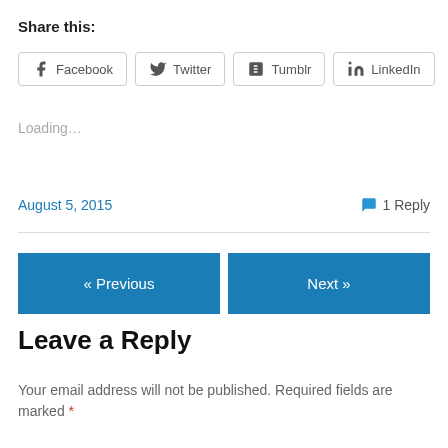Share this:
[Figure (other): Row of social share buttons: Facebook, Twitter, Tumblr, LinkedIn]
Loading...
August 5, 2015
1 Reply
« Previous
Next »
Leave a Reply
Your email address will not be published. Required fields are marked *